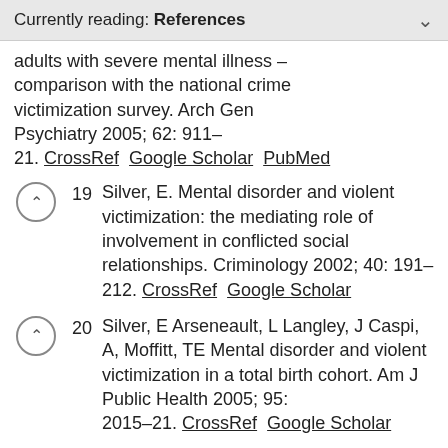Currently reading: References
adults with severe mental illness – comparison with the national crime victimization survey. Arch Gen Psychiatry 2005; 62: 911–21. CrossRef  Google Scholar  PubMed
19  Silver, E. Mental disorder and violent victimization: the mediating role of involvement in conflicted social relationships. Criminology 2002; 40: 191–212. CrossRef  Google Scholar
20  Silver, E Arseneault, L Langley, J Caspi, A, Moffitt, TE Mental disorder and violent victimization in a total birth cohort. Am J Public Health 2005; 95: 2015–21. CrossRef  Google Scholar